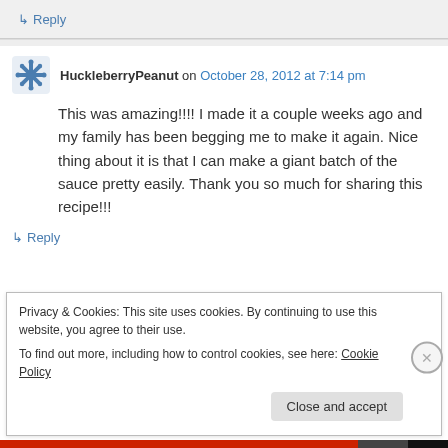↳ Reply
HuckleberryPeanut on October 28, 2012 at 7:14 pm
This was amazing!!!! I made it a couple weeks ago and my family has been begging me to make it again. Nice thing about it is that I can make a giant batch of the sauce pretty easily. Thank you so much for sharing this recipe!!!
↳ Reply
Privacy & Cookies: This site uses cookies. By continuing to use this website, you agree to their use.
To find out more, including how to control cookies, see here: Cookie Policy